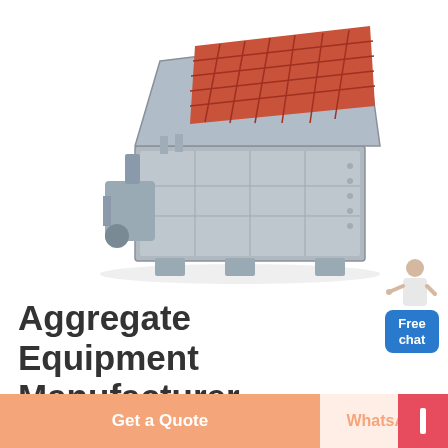[Figure (photo): Industrial aggregate crushing machine - a large grey box-shaped impact crusher with orange/red top grating, mechanical components visible on sides]
[Figure (illustration): Customer service representative figure pointing, with a blue Free chat button below]
Aggregate Equipment Manufacturer
ELRUS is the home of PITBOSS equipment and reliable, , Jaw Crushers Jaw Crusher; , ELRUS USA Contacts; ELRUS Canada Contacts;
Get a Quote
WhatsApp